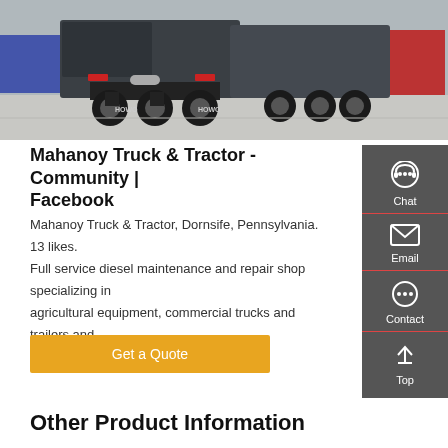[Figure (photo): Rear view of two HOWO trucks parked in a yard with other trucks visible in background]
Mahanoy Truck & Tractor - Community | Facebook
Mahanoy Truck & Tractor, Dornsife, Pennsylvania. 13 likes. Full service diesel maintenance and repair shop specializing in agricultural equipment, commercial trucks and trailers and heavy off-highway
Get a Quote
Other Product Information